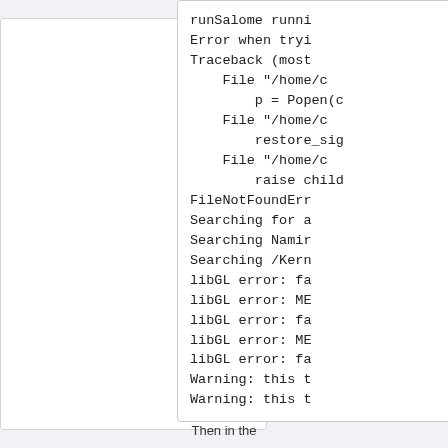[Figure (screenshot): Screenshot of a terminal/console output showing a Python traceback and error messages including FileNotFoundError, libGL errors, and warnings.]
runSalome runni
Error when tryi
Traceback (most
    File "/home/c
        p = Popen(c
    File "/home/c
        restore_sig
    File "/home/c
        raise child
FileNotFoundErr
Searching for a
Searching Namir
Searching /Kern
libGL error: fa
libGL error: ME
libGL error: fa
libGL error: ME
libGL error: fa
Warning: this t
Warning: this t